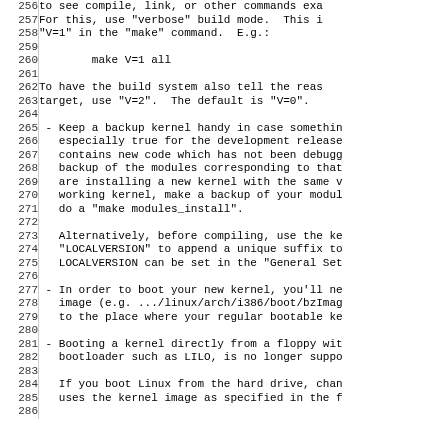Lines 256-286 of a Linux kernel documentation file (README or similar), showing instructions about verbose build mode, backup kernels, LOCALVERSION, booting new kernel, floppy boot, and hard drive boot.